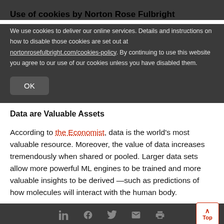Use of cookies by Norton Rose Fulbright
We use cookies to deliver our online services. Details and instructions on how to disable those cookies are set out at nortonrosefulbright.com/cookies-policy. By continuing to use this website you agree to our use of our cookies unless you have disabled them.
Data are Valuable Assets
According to the Economist, data is the world's most valuable resource. Moreover, the value of data increases tremendously when shared or pooled. Larger data sets allow more powerful ML engines to be trained and more valuable insights to be derived —such as predictions of how molecules will interact with the human body.
Social media icons and Top button